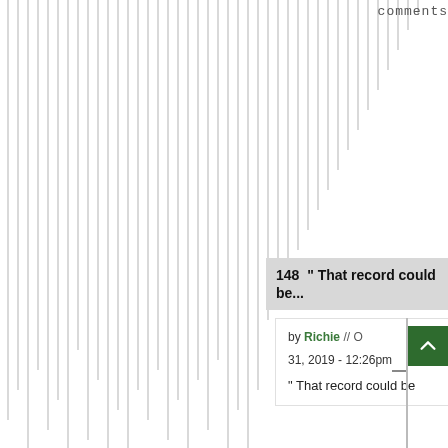comments
[Figure (other): Background of many vertical gray lines of varying heights, arranged side by side across the page]
148  "That record could be...
by Richie // O[ctober] 31, 2019 - 12:26pm
" That record could be